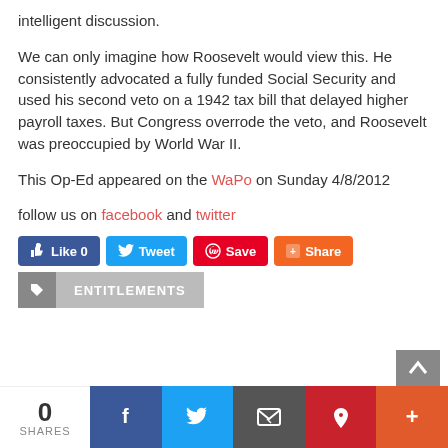intelligent discussion.
We can only imagine how Roosevelt would view this. He consistently advocated a fully funded Social Security and used his second veto on a 1942 tax bill that delayed higher payroll taxes. But Congress overrode the veto, and Roosevelt was preoccupied by World War II.
This Op-Ed appeared on the WaPo on Sunday 4/8/2012
follow us on facebook and twitter
[Figure (infographic): Social share buttons: Like 0 (Facebook), Tweet (Twitter), Save (Pinterest), Share (other). Tag row with ENTITLEMENTS label. Bottom bar with share count 0 and social media icons.]